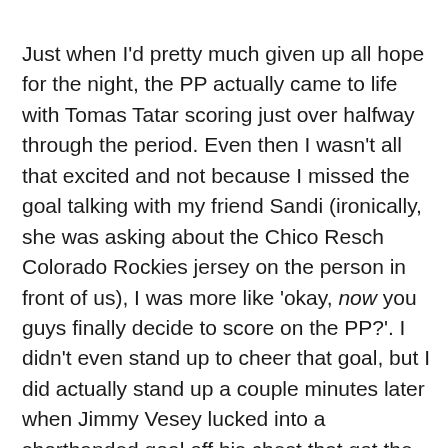Just when I'd pretty much given up all hope for the night, the PP actually came to life with Tomas Tatar scoring just over halfway through the period. Even then I wasn't all that excited and not because I missed the goal talking with my friend Sandi (ironically, she was asking about the Chico Resch Colorado Rockies jersey on the person in front of us), I was more like 'okay, now you guys finally decide to score on the PP?'. I didn't even stand up to cheer that goal, but I did actually stand up a couple minutes later when Jimmy Vesey lucked into a shorthanded goal off his chest that got the Devils to within one.
Still, despite the Devils' improved play and game effort in the third they came up short yet again and suffered one final indignity when after Vegas scored an empty-netter to make it 5-3, Hughes' apparent goal with ten seconds left was waved off because of offside. The score and...